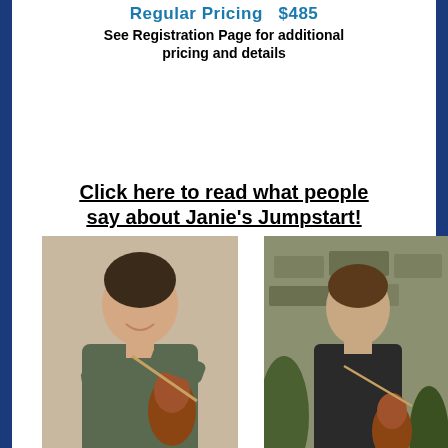Regular Pricing  $485
See Registration Page for additional pricing and details
Click here to read what people say about Janie's Jumpstart!
[Figure (photo): Photo of Lisa Ornstein holding a violin, smiling]
Lisa Ornstein
[Figure (photo): Photo of Janie Rothfield holding a violin outdoors against stone wall]
Janie Rothfield
[Figure (photo): Photo of a woman with violin, partially visible at bottom]
[Figure (photo): Photo of a person with instrument outdoors, partially visible at bottom]